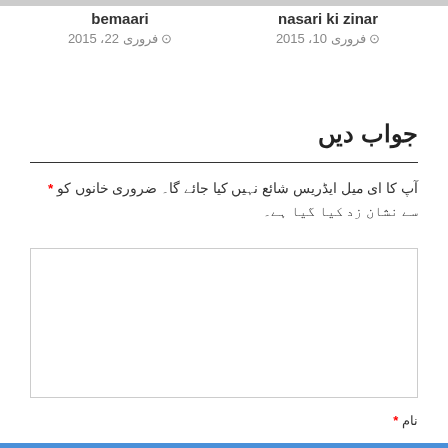bemaari
فروری 22، 2015
nasari ki zinar
فروری 10، 2015
جواب دیں
آپ کا ای میل ایڈریس شائع نہیں کیا جائے گا۔ ضروری خانوں کو * سے نشان زد کیا گیا ہے۔
نام *